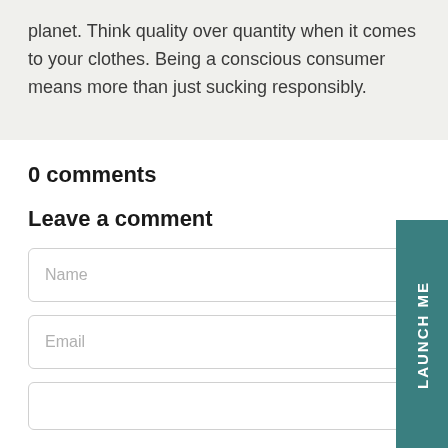planet. Think quality over quantity when it comes to your clothes. Being a conscious consumer means more than just sucking responsibly.
0 comments
Leave a comment